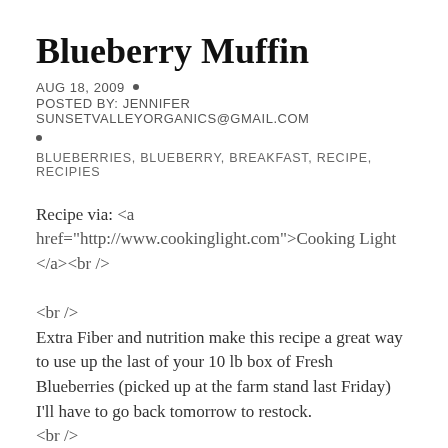Blueberry Muffin
AUG 18, 2009 •
POSTED BY: JENNIFER SUNSETVALLEYORGANICS@GMAIL.COM
•
BLUEBERRIES, BLUEBERRY, BREAKFAST, RECIPE, RECIPIES
Recipe via: <a href="http://www.cookinglight.com">Cooking Light </a><br />
<br />
Extra Fiber and nutrition make this recipe a great way to use up the last of your 10 lb box of Fresh Blueberries (picked up at the farm stand last Friday) I'll have to go back tomorrow to restock.
<br />
<br />
1 2/3 cups quick-cooking oats<br />
2/3 cup all-purpose flour (about 3 ounces)<br />